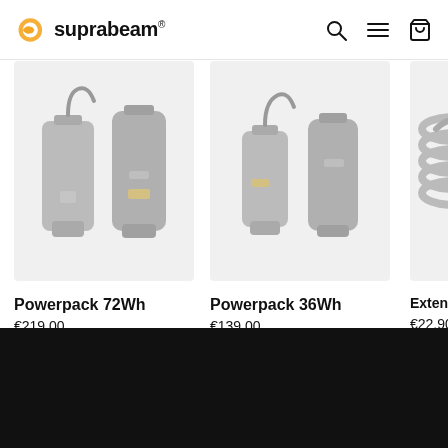suprabeam® — navigation bar with search, menu, and cart icons
[Figure (photo): Suprabeam Powerpack 72Wh product photo on light grey background]
Powerpack 72Wh
€219.00
[Figure (photo): Suprabeam Powerpack 36Wh product photo on light grey background]
Powerpack 36Wh
€139.00
[Figure (photo): Suprabeam Extension cable product photo on light grey background, partially cropped]
Extens…
€22.90